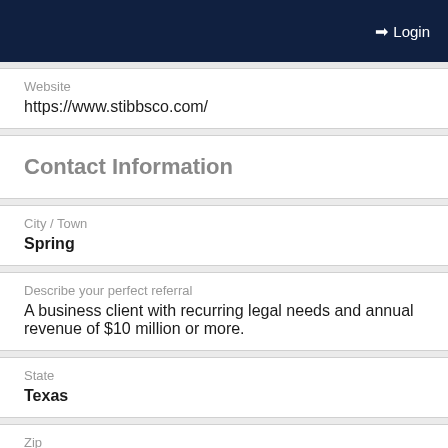Login
Website
https://www.stibbsco.com/
Contact Information
City / Town
Spring
Describe your perfect referral
A business client with recurring legal needs and annual revenue of $10 million or more.
State
Texas
Zip
77373